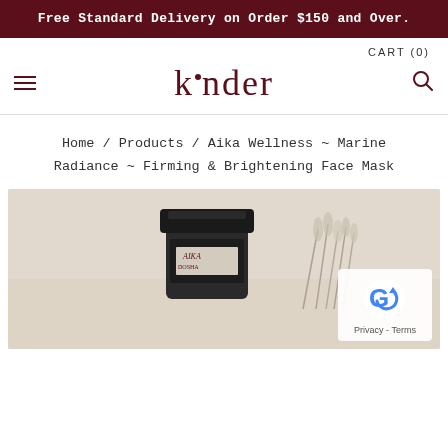Free Standard Delivery on Order $150 and Over.
CART (0)
k·nder
Home / Products / Aika Wellness ~ Marine Radiance ~ Firming & Brightening Face Mask
[Figure (photo): Product photo showing a dark glass jar with a lid labeled 'Aika' alongside dried botanical stems on a light beige surface. A reCAPTCHA privacy badge is overlaid in the bottom right corner.]